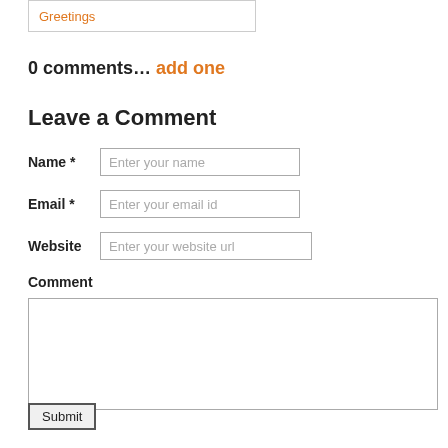Greetings
0 comments… add one
Leave a Comment
Name *  Enter your name
Email *  Enter your email id
Website  Enter your website url
Comment
Submit